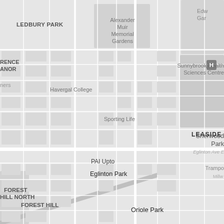[Figure (map): Greyscale Google Maps screenshot showing the midtown Toronto area including neighborhoods: Ledbury Park, Leaside, Forest Hill North, Forest Hill, Forest Hill South, Cedarvale, Deer Park; landmarks: Alexander Muir Memorial Gardens, Sunnybrook Health Sciences Centre, Havergal College, Sporting Life, Eglinton Park, PAI Uptown, Oriole Park, Sherwood Park, Moore Park Ravine, Crothers Woods, Loblaws, Terroni, Trampoline business; streets including Eglinton Ave E, Yonge St, Bathurst St, Vaughan Rd, Avenue Rd; a prominent green app pin marker with a child/caregiver icon placed at Eglinton Park; a dark circle 'TOP' scroll button in lower right; zoom in/out controls in upper right; a dark grey map pin at Oriole Park area and at left side park.]